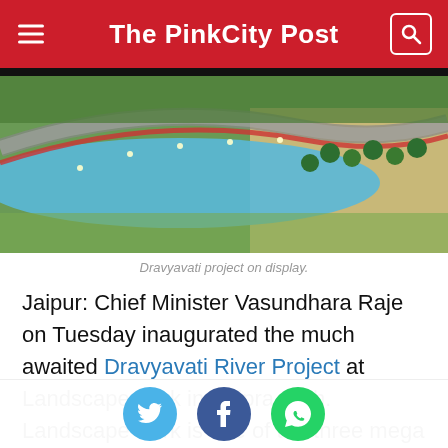The PinkCity Post
[Figure (photo): Aerial view of Dravyavati River Project model showing curved road, blue water feature, green landscaping, and palm trees.]
Dravyavati project on display.
Jaipur: Chief Minister Vasundhara Raje on Tuesday inaugurated the much awaited Dravyavati River Project at Landscape Park in Shipra Path. Landscape Park is one of the three mega parks built under the project. Several
[Figure (infographic): Social share buttons: Twitter, Facebook, WhatsApp]